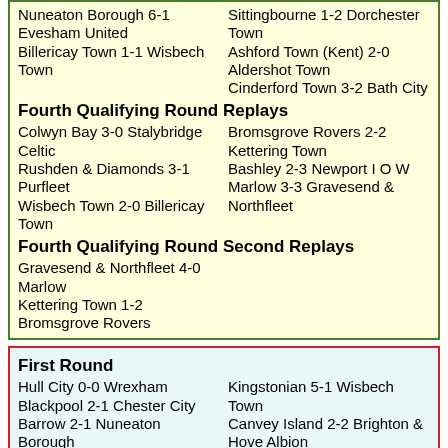Nuneaton Borough 6-1 Evesham United
Billericay Town 1-1 Wisbech Town
Sittingbourne 1-2 Dorchester Town
Ashford Town (Kent) 2-0 Aldershot Town
Cinderford Town 3-2 Bath City
Fourth Qualifying Round Replays
Colwyn Bay 3-0 Stalybridge Celtic
Rushden & Diamonds 3-1 Purfleet
Wisbech Town 2-0 Billericay Town
Bromsgrove Rovers 2-2 Kettering Town
Bashley 2-3 Newport I O W
Marlow 3-3 Gravesend & Northfleet
Fourth Qualifying Round Second Replays
Gravesend & Northfleet 4-0 Marlow
Kettering Town 1-2 Bromsgrove Rovers
First Round
Hull City 0-0 Wrexham
Blackpool 2-1 Chester City
Barrow 2-1 Nuneaton Borough
Bradford City 4-3 Burton Albion
Runcorn 1-1 Wigan Athletic
Kingstonian 5-1 Wisbech Town
Canvey Island 2-2 Brighton & Hove Albion
Wycombe Wanderers 1-1 Gillingham
Rushden & Diamonds 1-3